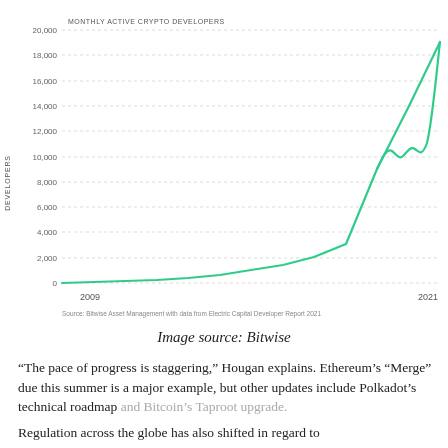[Figure (line-chart): Line chart showing monthly active crypto developers from 2009 to 2021, rising sharply from near 0 to approximately 18,000.]
Image source: Bitwise
“The pace of progress is staggering,” Hougan explains. Ethereum’s “Merge” due this summer is a major example, but other updates include Polkadot’s technical roadmap and Bitcoin’s Taproot upgrade.
Regulation across the globe has also shifted in regard to